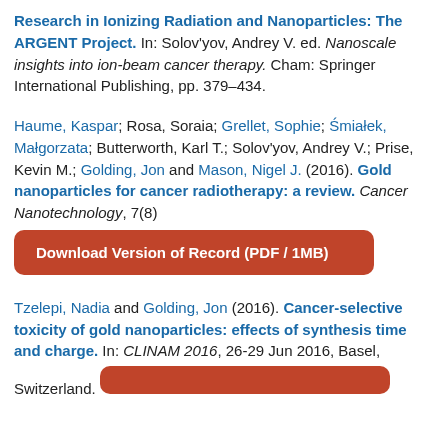Research in Ionizing Radiation and Nanoparticles: The ARGENT Project. In: Solov'yov, Andrey V. ed. Nanoscale insights into ion-beam cancer therapy. Cham: Springer International Publishing, pp. 379–434.
Haume, Kaspar; Rosa, Soraia; Grellet, Sophie; Śmiałek, Małgorzata; Butterworth, Karl T.; Solov'yov, Andrey V.; Prise, Kevin M.; Golding, Jon and Mason, Nigel J. (2016). Gold nanoparticles for cancer radiotherapy: a review. Cancer Nanotechnology, 7(8)
Download Version of Record (PDF / 1MB)
Tzelepi, Nadia and Golding, Jon (2016). Cancer-selective toxicity of gold nanoparticles: effects of synthesis time and charge. In: CLINAM 2016, 26-29 Jun 2016, Basel, Switzerland.